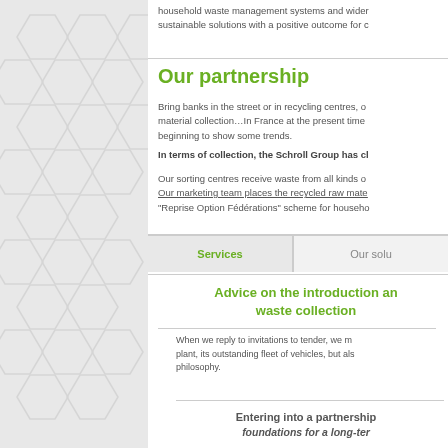household waste management systems and wider... sustainable solutions with a positive outcome for c...
Our partnership
Bring banks in the street or in recycling centres, o... material collection…In France at the present time... beginning to show some trends.
In terms of collection, the Schroll Group has cl...
Our sorting centres receive waste from all kinds o... Our marketing team places the recycled raw mate... "Reprise Option Fédérations" scheme for househo...
Services
Our solu...
Advice on the introduction an... waste collection
When we reply to invitations to tender, we m... plant, its outstanding fleet of vehicles, but als... philosophy.
Entering into a partnership... foundations for a long-ter...